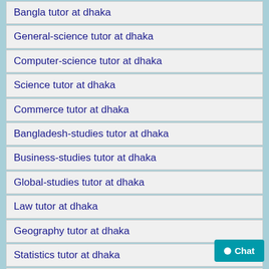Bangla tutor at dhaka
General-science tutor at dhaka
Computer-science tutor at dhaka
Science tutor at dhaka
Commerce tutor at dhaka
Bangladesh-studies tutor at dhaka
Business-studies tutor at dhaka
Global-studies tutor at dhaka
Law tutor at dhaka
Geography tutor at dhaka
Statistics tutor at dhaka
Finance tutor at dhaka
Accounting tutor at dhaka
Economics tutor at dhaka